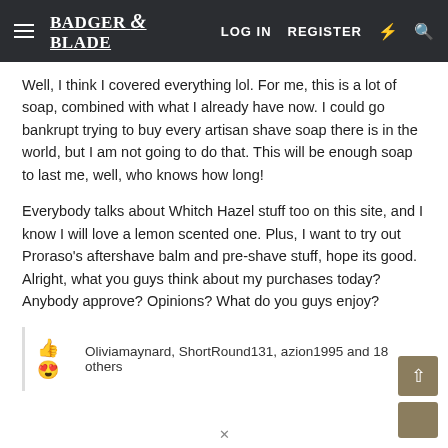Badger & Blade — LOG IN   REGISTER
Well, I think I covered everything lol. For me, this is a lot of soap, combined with what I already have now. I could go bankrupt trying to buy every artisan shave soap there is in the world, but I am not going to do that. This will be enough soap to last me, well, who knows how long!
Everybody talks about Whitch Hazel stuff too on this site, and I know I will love a lemon scented one. Plus, I want to try out Proraso's aftershave balm and pre-shave stuff, hope its good. Alright, what you guys think about my purchases today? Anybody approve? Opinions? What do you guys enjoy?
Oliviamaynard, ShortRound131, azion1995 and 18 others